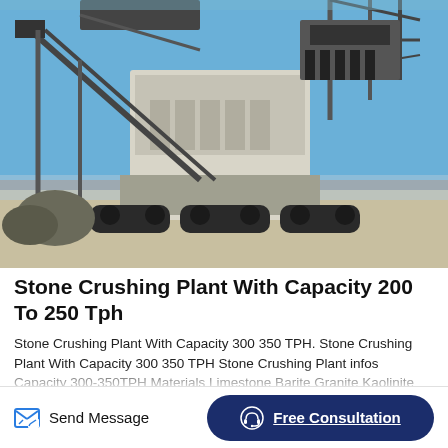[Figure (photo): Industrial stone crushing plant with large crusher machinery on tracks/crawlers, conveyor belts, and metal frame structure against a blue sky. Heavy mining equipment outdoors on dry ground.]
Stone Crushing Plant With Capacity 200 To 250 Tph
Stone Crushing Plant With Capacity 300 350 TPH. Stone Crushing Plant With Capacity 300 350 TPH Stone Crushing Plant infos Capacity 300-350TPH Materials Limestone Barite Granite Kaolinite
Send Message
Free Consultation